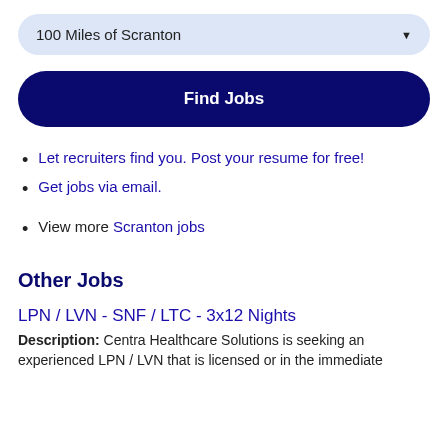100 Miles of Scranton
Find Jobs
Let recruiters find you. Post your resume for free!
Get jobs via email.
View more Scranton jobs
Other Jobs
LPN / LVN - SNF / LTC - 3x12 Nights
Description: Centra Healthcare Solutions is seeking an experienced LPN / LVN that is licensed or in the immediate